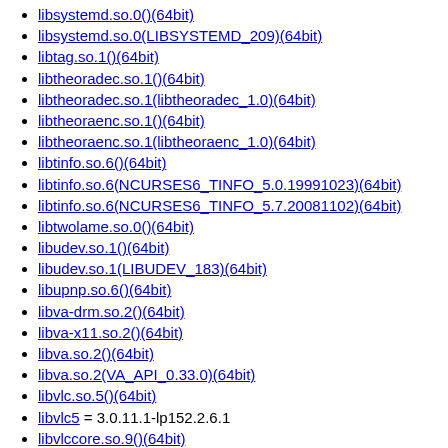libsystemd.so.0()(64bit)
libsystemd.so.0(LIBSYSTEMD_209)(64bit)
libtag.so.1()(64bit)
libtheoradec.so.1()(64bit)
libtheoradec.so.1(libtheoradec_1.0)(64bit)
libtheoraenc.so.1()(64bit)
libtheoraenc.so.1(libtheoraenc_1.0)(64bit)
libtinfo.so.6()(64bit)
libtinfo.so.6(NCURSES6_TINFO_5.0.19991023)(64bit)
libtinfo.so.6(NCURSES6_TINFO_5.7.20081102)(64bit)
libtwolame.so.0()(64bit)
libudev.so.1()(64bit)
libudev.so.1(LIBUDEV_183)(64bit)
libupnp.so.6()(64bit)
libva-drm.so.2()(64bit)
libva-x11.so.2()(64bit)
libva.so.2()(64bit)
libva.so.2(VA_API_0.33.0)(64bit)
libvlc.so.5()(64bit)
libvlc5 = 3.0.11.1-lp152.2.6.1
libvlccore.so.9()(64bit)
libvlccore9 = 3.0.11.1-lp152.2.6.1
libvorbis.so.0()(64bit)
libvorbisenc.so.2()(64bit)
libvpx.so.4()(64bit)